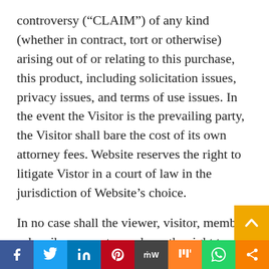controversy (“CLAIM”) of any kind (whether in contract, tort or otherwise) arising out of or relating to this purchase, this product, including solicitation issues, privacy issues, and terms of use issues. In the event the Visitor is the prevailing party, the Visitor shall bare the cost of its own attorney fees. Website reserves the right to litigate Vistor in a court of law in the jurisdiction of Website’s choice.
In no case shall the viewer, visitor, member, subscriber or customer have the right to go to court or have a jury trial. Viewer, visitor, member, subscriber or customer will not have the right to engage in pre-trial discovery